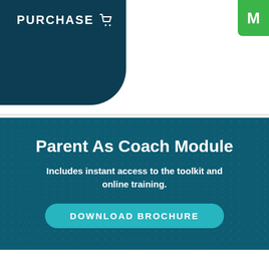[Figure (screenshot): Dark teal rounded purchase button with shopping cart icon and text PURCHASE]
[Figure (screenshot): Green chat bubble icon partially visible in top right corner with letter M]
[Figure (infographic): Teal banner with text Parent As Coach Module, subtitle about toolkit and online training, and a Download Brochure button]
Group Name: